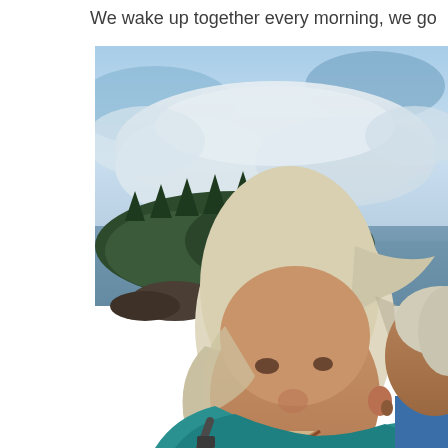We wake up together every morning, we go
[Figure (photo): An outdoor selfie photo of two middle-aged people with white/grey hair smiling, wearing teal/blue clothing with backpack straps visible. Background shows a scenic lake or body of water with a forested island, rocky outcroppings, and a partly cloudy blue sky.]